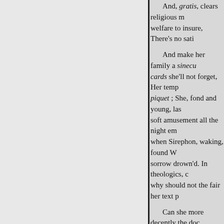And, gratis, clears religious m[ystery;] welfare to insure, There's no sati[sfaction;
And make her family a sinecu[re;] cards she'll not forget, Her temp[er] piquet ; She, fond and young, las[t night] soft amusement all the night emp[loy'd,] when Sirephon, waking, found W[ife] sorrow drown'd. In theologics, c[ould] why should not the fair her text p[ursue?]
Can she more decently the doc[trine teach,] too, she who makes no use but c[arries it?]
of her religion, should be barr'd i[ts use?]
Isaac, a brother of the canting [trade,] at his own skull in vain, Yet sure[ly]
To beau[ty] We wish our mistress, and d[esire] But soon the sated appetites
O how[ever] Again our stomachs crave, [and] Eternal love let man, then,